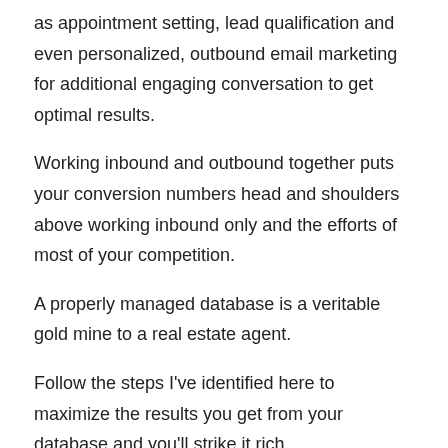as appointment setting, lead qualification and even personalized, outbound email marketing for additional engaging conversation to get optimal results.
Working inbound and outbound together puts your conversion numbers head and shoulders above working inbound only and the efforts of most of your competition.
A properly managed database is a veritable gold mine to a real estate agent.
Follow the steps I've identified here to maximize the results you get from your database and you'll strike it rich.
This post was originally published by Market Maker Leads.